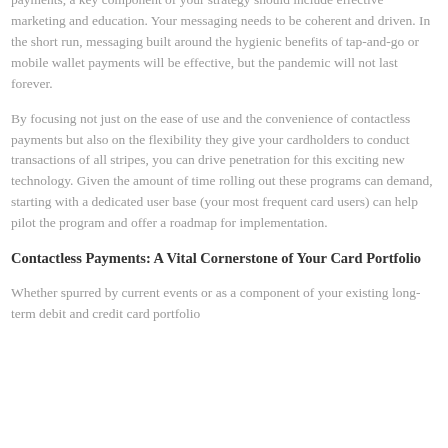payments, a key component of your strategy should include effective marketing and education. Your messaging needs to be coherent and driven. In the short run, messaging built around the hygienic benefits of tap-and-go or mobile wallet payments will be effective, but the pandemic will not last forever.
By focusing not just on the ease of use and the convenience of contactless payments but also on the flexibility they give your cardholders to conduct transactions of all stripes, you can drive penetration for this exciting new technology. Given the amount of time rolling out these programs can demand, starting with a dedicated user base (your most frequent card users) can help pilot the program and offer a roadmap for implementation.
Contactless Payments: A Vital Cornerstone of Your Card Portfolio
Whether spurred by current events or as a component of your existing long-term debit and credit card portfolio